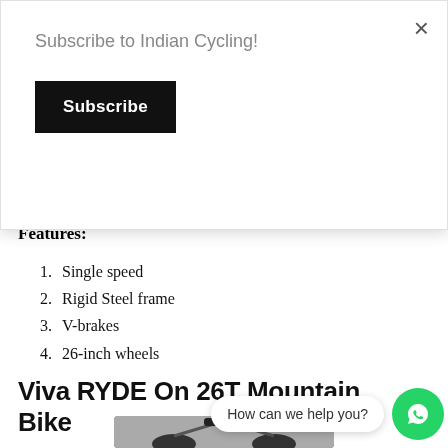Subscribe to Indian Cycling!
Subscribe
but are marketed by TI Cycles group in India.
Features:
Single speed
Rigid Steel frame
V-brakes
26-inch wheels
Viva RYDE On 26T Mountain Bike
How can we help you?
[Figure (photo): Bottom portion of a mountain bike (Viva RYDE On 26T) showing saddle and frame, partially visible]